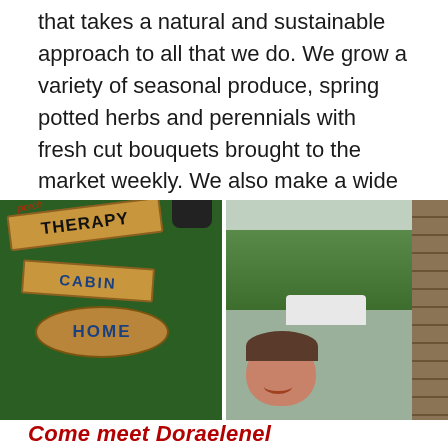that takes a natural and sustainable approach to all that we do. We grow a variety of seasonal produce, spring potted herbs and perennials with fresh cut bouquets brought to the market weekly. We also make a wide variety of jams, pickles, relishes and salsa along with homemade baked goods. Come try our farm fresh goodies.
[Figure (photo): Two photos side by side: left photo shows wooden signs reading 'THERAPY', 'CABIN', 'HOME' on a green background; right photo shows a woman smiling near a brick pillar outdoors.]
Come meet Doraelenel